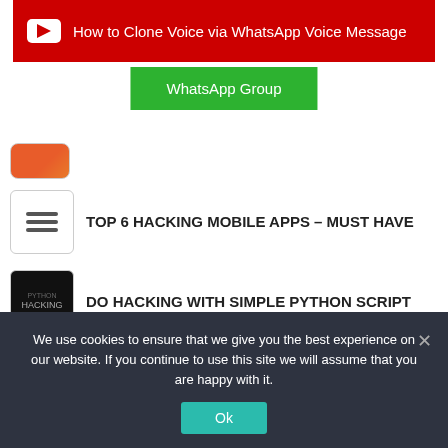[Figure (screenshot): YouTube banner with play icon and text: How to Clone Voice via WhatsApp Voice Message]
WhatsApp Group
TOP 6 HACKING MOBILE APPS – MUST HAVE
DO HACKING WITH SIMPLE PYTHON SCRIPT
HOW TO SCAN WHOLE INTERNET 3.7 BILLION IP ADDRESSES…
GENERATE ANDROID APP IN 2 MINS AND HACK ANY ANDROID MOBILE
We use cookies to ensure that we give you the best experience on our website. If you continue to use this site we will assume that you are happy with it.
Ok